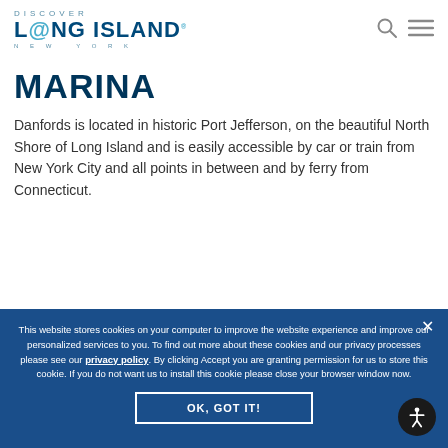DISCOVER LONG ISLAND NEW YORK
MARINA
Danfords is located in historic Port Jefferson, on the beautiful North Shore of Long Island and is easily accessible by car or train from New York City and all points in between and by ferry from Connecticut.
This website stores cookies on your computer to improve the website experience and improve our personalized services to you. To find out more about these cookies and our privacy processes please see our privacy policy. By clicking Accept you are granting permission for us to store this cookie. If you do not want us to install this cookie please close your browser window now.
OK, GOT IT!